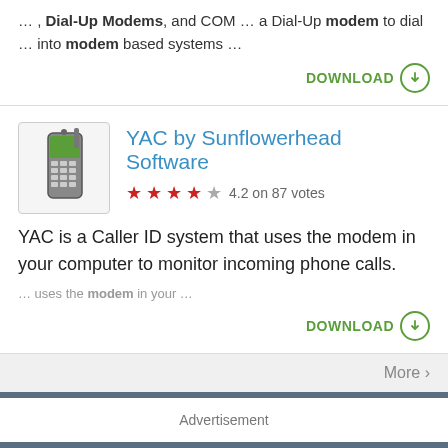… , Dial-Up Modems, and COM … a Dial-Up modem to dial … into modem based systems …
DOWNLOAD
YAC by Sunflowerhead Software
4.2 on 87 votes
YAC is a Caller ID system that uses the modem in your computer to monitor incoming phone calls.
… uses the modem in your …
DOWNLOAD
More ›
Advertisement